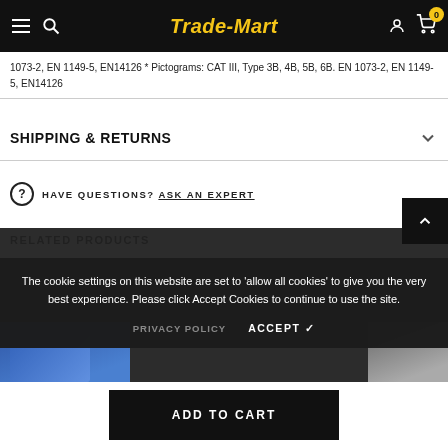Trade-Mart
1073-2, EN 1149-5, EN14126 * Pictograms: CAT III, Type 3B, 4B, 5B, 6B. EN 1073-2, EN 1149-5, EN14126
SHIPPING & RETURNS
HAVE QUESTIONS? ASK AN EXPERT
RELATED PRODUCTS
The cookie settings on this website are set to 'allow all cookies' to give you the very best experience. Please click Accept Cookies to continue to use the site.
PRIVACY POLICY   ACCEPT ✓
ADD TO CART